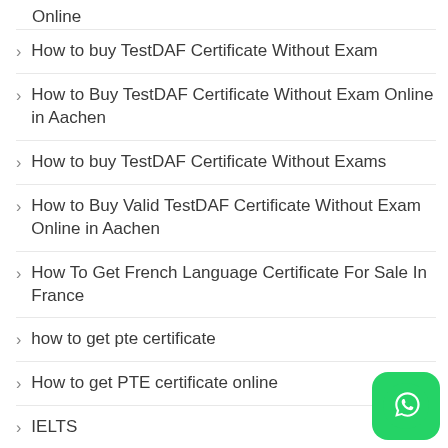Online
How to buy TestDAF Certificate Without Exam
How to Buy TestDAF Certificate Without Exam Online in Aachen
How to buy TestDAF Certificate Without Exams
How to Buy Valid TestDAF Certificate Without Exam Online in Aachen
How To Get French Language Certificate For Sale In France
how to get pte certificate
How to get PTE certificate online
IELTS
IELTS certificate for sale online